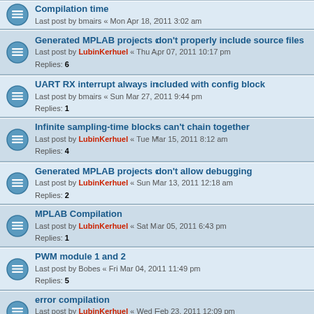Compilation time
Last post by bmairs « Mon Apr 18, 2011 3:02 am
Generated MPLAB projects don't properly include source files
Last post by LubinKerhuel « Thu Apr 07, 2011 10:17 pm
Replies: 6
UART RX interrupt always included with config block
Last post by bmairs « Sun Mar 27, 2011 9:44 pm
Replies: 1
Infinite sampling-time blocks can't chain together
Last post by LubinKerhuel « Tue Mar 15, 2011 8:12 am
Replies: 4
Generated MPLAB projects don't allow debugging
Last post by LubinKerhuel « Sun Mar 13, 2011 12:18 am
Replies: 2
MPLAB Compilation
Last post by LubinKerhuel « Sat Mar 05, 2011 6:43 pm
Replies: 1
PWM module 1 and 2
Last post by Bobes « Fri Mar 04, 2011 11:49 pm
Replies: 5
error compilation
Last post by LubinKerhuel « Wed Feb 23, 2011 12:09 pm
Replies: 5
PSV model for interrupts not explicitly declared
Last post by LubinKerhuel « Tue Feb 15, 2011 10:27 pm
Replies: 2
Error loading example